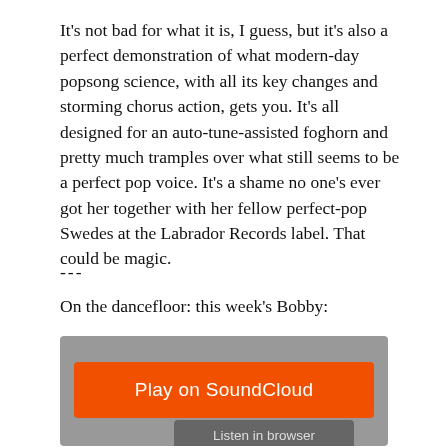It's not bad for what it is, I guess, but it's also a perfect demonstration of what modern-day popsong science, with all its key changes and storming chorus action, gets you. It's all designed for an auto-tune-assisted foghorn and pretty much tramples over what still seems to be a perfect pop voice. It's a shame no one's ever got her together with her fellow perfect-pop Swedes at the Labrador Records label. That could be magic.
---
On the dancefloor: this week's Bobby:
[Figure (screenshot): SoundCloud embedded player widget with orange 'Play on SoundCloud' button and 'Listen in browser' button on a grey background]